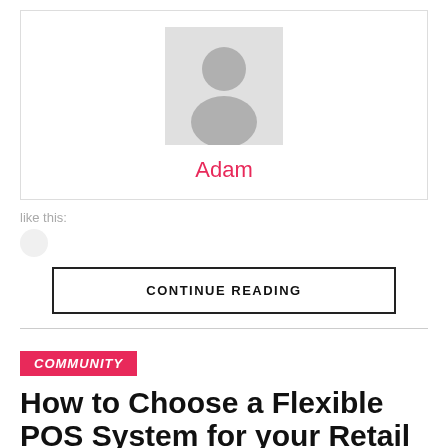[Figure (photo): Generic user avatar placeholder - grey silhouette on light grey background]
Adam
like this:
CONTINUE READING
COMMUNITY
How to Choose a Flexible POS System for your Retail Business?